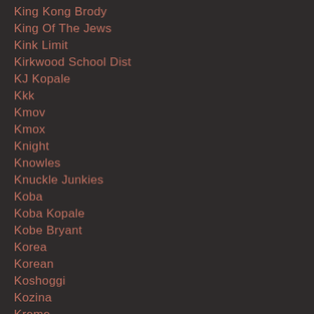King Kong Brody
King Of The Jews
Kink Limit
Kirkwood School Dist
KJ Kopale
Kkk
Kmov
Kmox
Knight
Knowles
Knuckle Junkies
Koba
Koba Kopale
Kobe Bryant
Korea
Korean
Koshoggi
Kozina
Kreme
Krispy
Krista